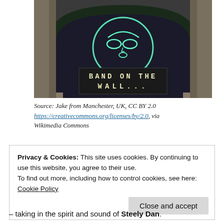[Figure (photo): Photo of Band on the Wall venue sign with neon logo (man with sunglasses in a circle) and LED display reading 'BAND ON THE WALL...' seen through a dark arched window facade.]
Source: Jake from Manchester, UK, CC BY 2.0 https://creativecommons.org/licenses/by/2.0, via Wikimedia Commons
Privacy & Cookies: This site uses cookies. By continuing to use this website, you agree to their use.
To find out more, including how to control cookies, see here:
Cookie Policy
Close and accept
— taking in the spirit and sound of Steely Dan.